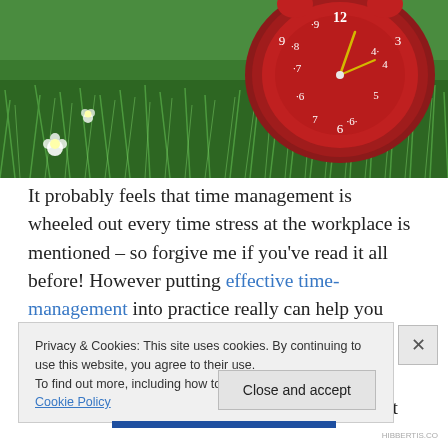[Figure (photo): A red alarm clock lying in green grass with small white flowers, photographed from a low angle.]
It probably feels that time management is wheeled out every time stress at the workplace is mentioned – so forgive me if you've read it all before! However putting effective time-management into practice really can help you reduce your stress levels and means you're less likely to find yourself working ridiculous hours to get things
Privacy & Cookies: This site uses cookies. By continuing to use this website, you agree to their use.
To find out more, including how to control cookies, see here: Cookie Policy